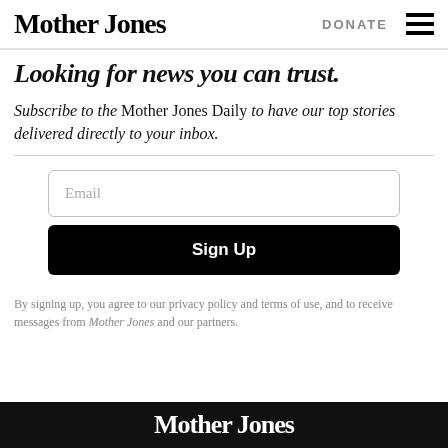Mother Jones  DONATE
Looking for news you can trust.
Subscribe to the Mother Jones Daily to have our top stories delivered directly to your inbox.
[Figure (screenshot): Email input field with placeholder text 'Email' and a black 'Sign Up' button below it]
By signing up, you agree to our privacy policy and terms of use, and to receive messages from Mother Jones and our partners.
Mother Jones